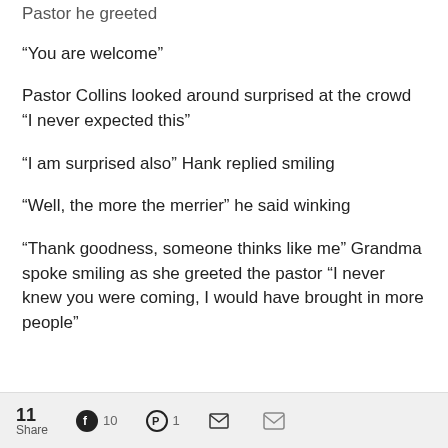Pastor he greeted
“You are welcome”
Pastor Collins looked around surprised at the crowd “I never expected this”
“I am surprised also” Hank replied smiling
“Well, the more the merrier” he said winking
“Thank goodness, someone thinks like me” Grandma spoke smiling as she greeted the pastor “I never knew you were coming, I would have brought in more people”
11 Share  10  1  [Twitter]  [Email]